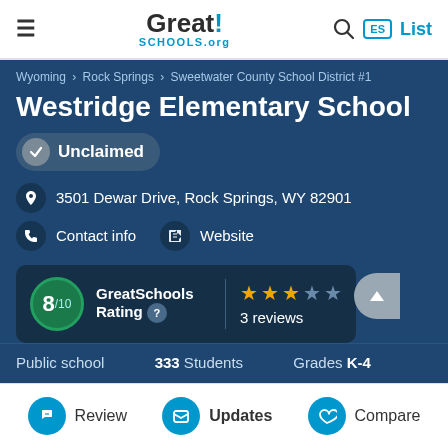Great!SCHOOLS.org — navigation header with hamburger menu, search, ES badge, List
Wyoming › Rock Springs › Sweetwater County School District #1
Westridge Elementary School
Unclaimed
3501 Dewar Drive, Rock Springs, WY 82901
Contact info
Website
GreatSchools Rating — 8/10, 3 reviews, 3 out of 5 stars
Public school   333 Students   Grades K-4
Review   Updates   Compare